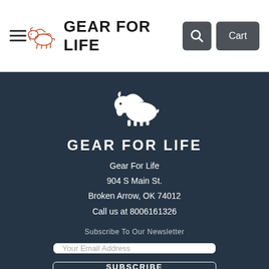[Figure (logo): Gear For Life logo with bison icon and text 'GEAR FOR LIFE' in dark bold font]
[Figure (other): Search button icon (magnifying glass) and Cart button in dark gray rounded rectangles]
[Figure (logo): White bison illustration logo centered on dark background]
GEAR FOR LIFE
Gear For Life
904 S Main St.
Broken Arrow, OK 74012
Call us at 8006161326
Subscribe To Our Newsletter
Your Email Address
SUBSCRIBE